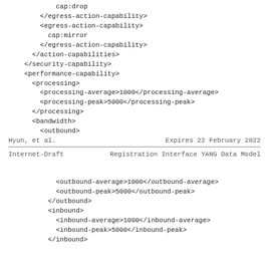cap:drop
        </egress-action-capability>
        <egress-action-capability>
          cap:mirror
        </egress-action-capability>
      </action-capabilities>
    </security-capability>
    <performance-capability>
      <processing>
        <processing-average>1000</processing-average>
        <processing-peak>5000</processing-peak>
      </processing>
      <bandwidth>
        <outbound>
Hyun, et al.                    Expires 22 February 2022
Internet-Draft      Registration Interface YANG Data Model
<outbound-average>1000</outbound-average>
        <outbound-peak>5000</outbound-peak>
      </outbound>
      <inbound>
        <inbound-average>1000</inbound-average>
        <inbound-peak>5000</inbound-peak>
      </inbound>